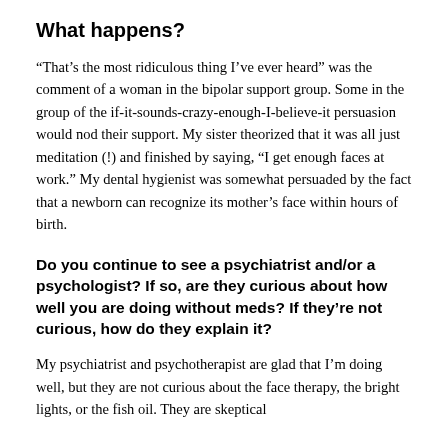What happens?
“That’s the most ridiculous thing I’ve ever heard” was the comment of a woman in the bipolar support group. Some in the group of the if-it-sounds-crazy-enough-I-believe-it persuasion would nod their support. My sister theorized that it was all just meditation (!) and finished by saying, “I get enough faces at work.” My dental hygienist was somewhat persuaded by the fact that a newborn can recognize its mother’s face within hours of birth.
Do you continue to see a psychiatrist and/or a psychologist? If so, are they curious about how well you are doing without meds? If they’re not curious, how do they explain it?
My psychiatrist and psychotherapist are glad that I’m doing well, but they are not curious about the face therapy, the bright lights, or the fish oil. They are skeptical